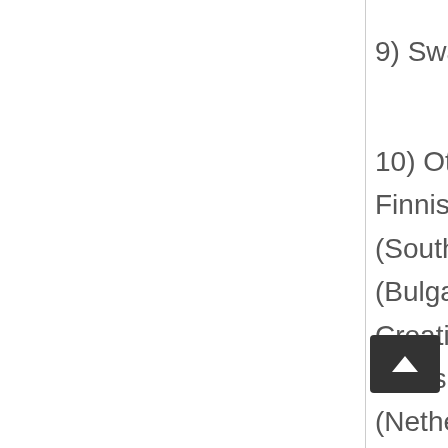9) Swahili (2): Kenya, Tanzania.
10) Other languages (36): Finnish (Finland), Afrikaans (South African), Bulgarian (Bulgaria), Catalan (Spain), Croatian (Croatia), Czech (Czech), Danish (Denmark), Dutch (Netherlands), German (Germany), Greek (Greece), Hebrew (Israel), Hungarian language (Hungary), Icelandic (Iceland), Indonesian (Indonesia), Italian (Italy), Japanese (Japan),